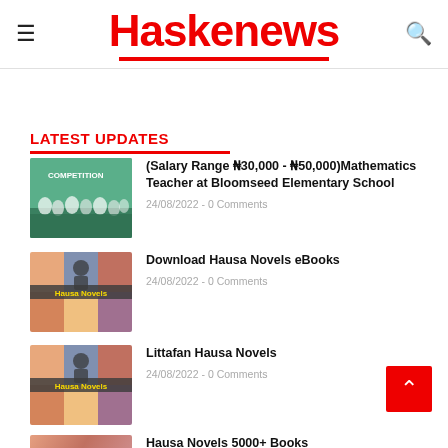Haskenews
LATEST UPDATES
(Salary Range ₦30,000 - ₦50,000)Mathematics Teacher at Bloomseed Elementary School
24/08/2022 - 0 Comments
Download Hausa Novels eBooks
24/08/2022 - 0 Comments
Littafan Hausa Novels
24/08/2022 - 0 Comments
Hausa Novels 5000+ Books